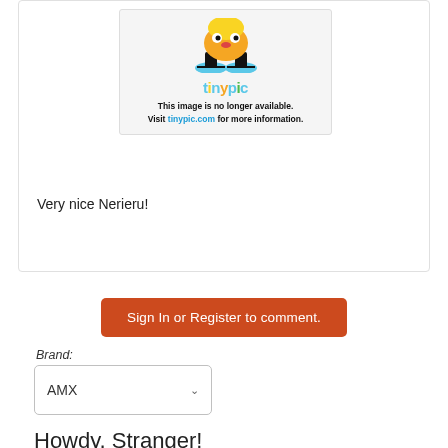[Figure (screenshot): Tinypic image placeholder showing mascot logo and text: 'This image is no longer available. Visit tinypic.com for more information.']
Very nice Nerieru!
Sign In or Register to comment.
Brand:
AMX
Howdy, Stranger!